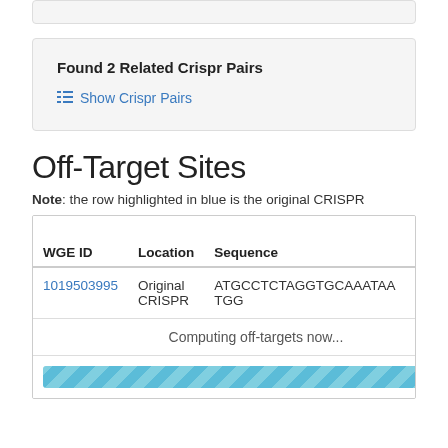Found 2 Related Crispr Pairs
Show Crispr Pairs
Off-Target Sites
Note: the row highlighted in blue is the original CRISPR
| WGE ID | Location | Sequence | Mismatch |
| --- | --- | --- | --- |
| 1019503995 | Original CRISPR | ATGCCTCTAGGTGCAAATAATGG |  |
Computing off-targets now...